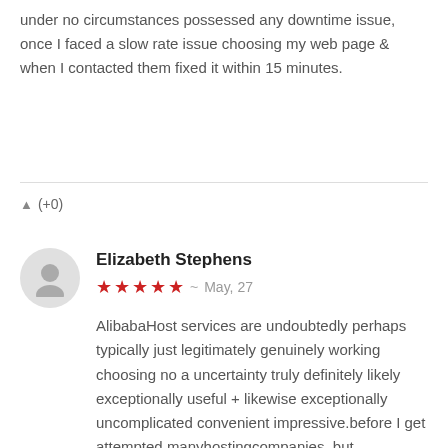under no circumstances possessed any downtime issue, once I faced a slow rate issue choosing my web page & when I contacted them fixed it within 15 minutes.
▲ (+0)
Elizabeth Stephens
★★★★★  ~  May, 27
AlibabaHost services are undoubtedly perhaps typically just legitimately genuinely working choosing no a uncertainty truly definitely likely exceptionally useful + likewise exceptionally uncomplicated convenient impressive.before I get attempted manyhostingcompanies, but AlibabaHost services were suitable to me. I need to adore their support team, they exceptionally useful + exceptionally uncomplicated plain were